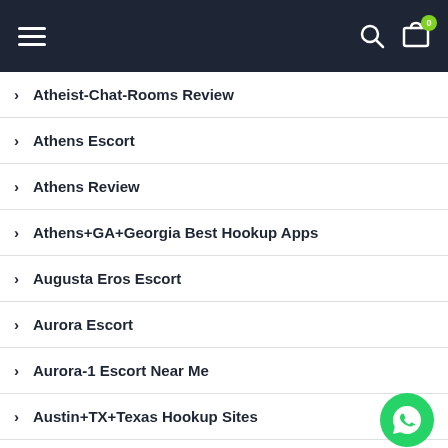Navigation bar with hamburger menu, search icon, and cart icon with badge 0
Atheist-Chat-Rooms Review
Athens Escort
Athens Review
Athens+GA+Georgia Best Hookup Apps
Augusta Eros Escort
Aurora Escort
Aurora-1 Escort Near Me
Austin+TX+Texas Hookup Sites